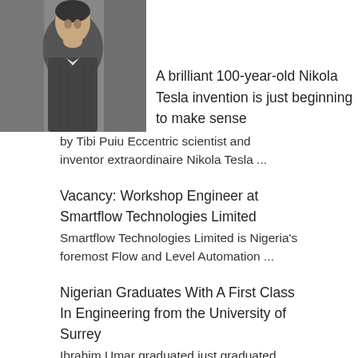[Figure (photo): Black and white photograph of Nikola Tesla, a man in a suit with his hand near his chin in a contemplative pose]
A brilliant 100-year-old Nikola Tesla invention is just beginning to make sense
by Tibi Puiu Eccentric scientist and inventor extraordinaire Nikola Tesla ...
Vacancy: Workshop Engineer at Smartflow Technologies Limited
Smartflow Technologies Limited is Nigeria's foremost Flow and Level Automation ...
Nigerian Graduates With A First Class In Engineering from the University of Surrey
Ibrahim Umar graduated just graduated with a First Class Honours ...